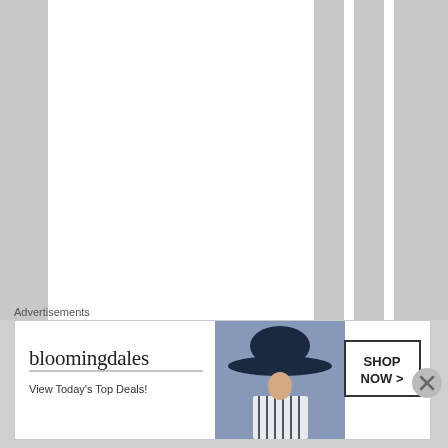[Figure (illustration): Striped column layout with vertical text reading 'theGermanleaders a' running down a white column, with alternating white and light gray vertical stripes]
Advertisements
[Figure (illustration): Bloomingdale's advertisement banner showing logo, 'View Today's Top Deals!' tagline, an image of a woman in a wide-brim hat, and a 'SHOP NOW >' button box]